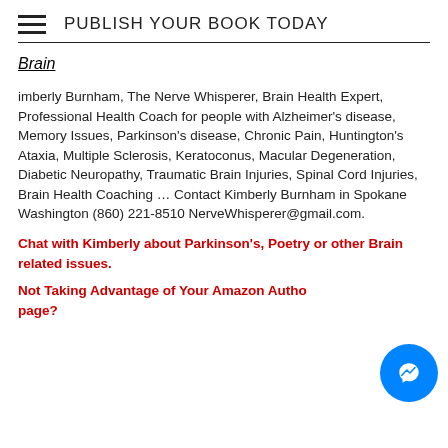PUBLISH YOUR BOOK TODAY
Brain
imberly Burnham, The Nerve Whisperer, Brain Health Expert, Professional Health Coach for people with Alzheimer's disease, Memory Issues, Parkinson's disease, Chronic Pain, Huntington's Ataxia, Multiple Sclerosis, Keratoconus, Macular Degeneration, Diabetic Neuropathy, Traumatic Brain Injuries, Spinal Cord Injuries, Brain Health Coaching ... Contact Kimberly Burnham in Spokane Washington (860) 221-8510 NerveWhisperer@gmail.com.
Chat with Kimberly about Parkinson's, Poetry or other Brain related issues.
Not Taking Advantage of Your Amazon Author page?
[Figure (illustration): Blue circular Messenger chat button icon in the bottom right corner]